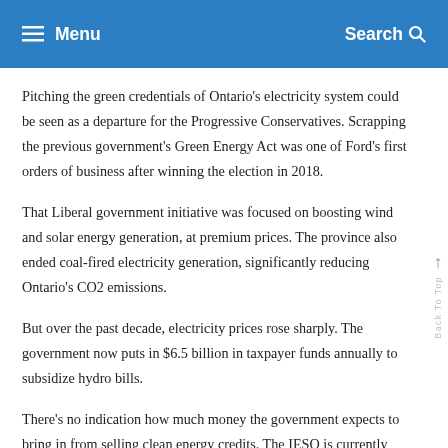≡ Menu   Search 🔍
Pitching the green credentials of Ontario's electricity system could be seen as a departure for the Progressive Conservatives. Scrapping the previous government's Green Energy Act was one of Ford's first orders of business after winning the election in 2018.
That Liberal government initiative was focused on boosting wind and solar energy generation, at premium prices. The province also ended coal-fired electricity generation, significantly reducing Ontario's CO2 emissions.
But over the past decade, electricity prices rose sharply. The government now puts in $6.5 billion in taxpayer funds annually to subsidize hydro bills.
There's no indication how much money the government expects to bring in from selling clean energy credits. The IESO is currently assessing the